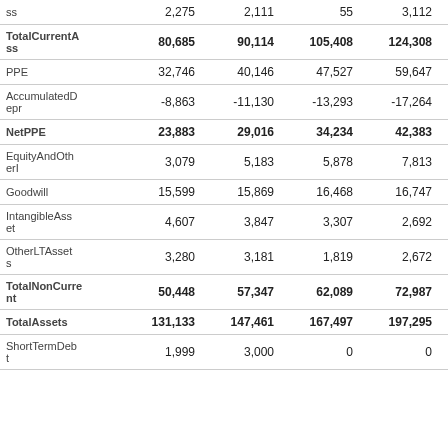|  | Col1 | Col2 | Col3 | Col4 | Col5 |
| --- | --- | --- | --- | --- | --- |
| ss | 2,275 | 2,111 | 55 | 3,112 | 4,112 |
| TotalCurrentAss | 80,685 | 90,114 | 105,408 | 124,308 | 135,676 |
| PPE | 32,746 | 40,146 | 47,527 | 59,647 | 82,507 |
| AccumulatedDepr | -8,863 | -11,130 | -13,293 | -17,264 | -22,788 |
| NetPPE | 23,883 | 29,016 | 34,234 | 42,383 | 59,719 |
| EquityAndOtherI | 3,079 | 5,183 | 5,878 | 7,813 | 13,859 |
| Goodwill | 15,599 | 15,869 | 16,468 | 16,747 | 17,888 |
| IntangibleAsset | 4,607 | 3,847 | 3,307 | 2,692 | 2,220 |
| OtherLTAssets | 3,280 | 3,181 | 1,819 | 2,672 | 2,693 |
| TotalNonCurrent | 50,448 | 57,347 | 62,089 | 72,987 | 97,116 |
| TotalAssets | 131,133 | 147,461 | 167,497 | 197,295 | 232,792 |
| ShortTermDebt | 1,999 | 3,000 | 0 | 0 | 0 |